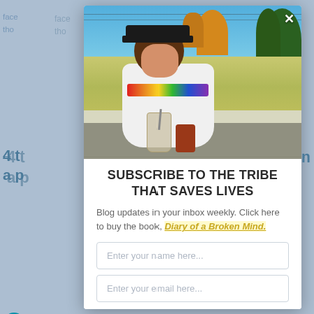[Figure (screenshot): Website screenshot showing a modal popup overlay. The modal contains a photo of a smiling young man outdoors in a white shirt with colorful stripes, holding a drink. Below the photo is a subscription form with the title 'SUBSCRIBE TO THE TRIBE THAT SAVES LIVES', body text about blog updates and a link to 'Diary of a Broken Mind', and two input fields for name and email. The background shows partially visible blog page content.]
SUBSCRIBE TO THE TRIBE THAT SAVES LIVES
Blog updates in your inbox weekly. Click here to buy the book, Diary of a Broken Mind.
Enter your name here...
Enter your email here...